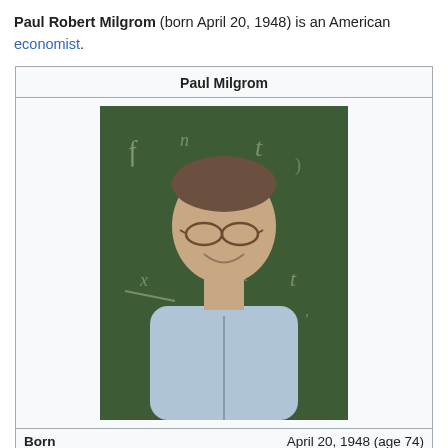Paul Robert Milgrom (born April 20, 1948) is an American economist.
[Figure (photo): Photo of Paul Milgrom smiling in front of a green chalkboard with mathematical equations, wearing glasses and a light blue zip-up shirt]
| Born | April 20, 1948 (age 74) |